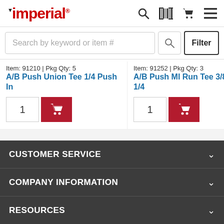Imperial
Search by keyword or item #
Item: 91210 | Pkg Qty: 5 — A/B Push Union Tee 1/4 Push In
Item: 91252 | Pkg Qty: 3 — A/B Push Ml Run Tee 3/8 X 1/4
Item: (partial) — Pip (partial)
CUSTOMER SERVICE
COMPANY INFORMATION
RESOURCES